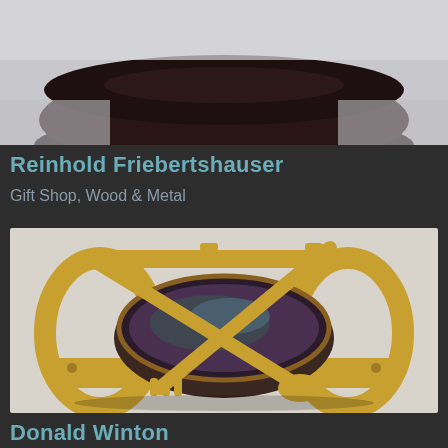[Figure (photo): Top portion of a dark glazed ceramic bowl/vessel cropped at top of page, showing the rim and bottom of the piece against a light background]
Reinhold Friebertshauser
Gift Shop, Wood & Metal
[Figure (photo): A wooden salad bowl set with two wooden serving utensils (fork and spoon) resting across a ceramic pottery bowl with iridescent blue-purple glaze, all held in a wooden stand/cradle frame]
Donald Winton